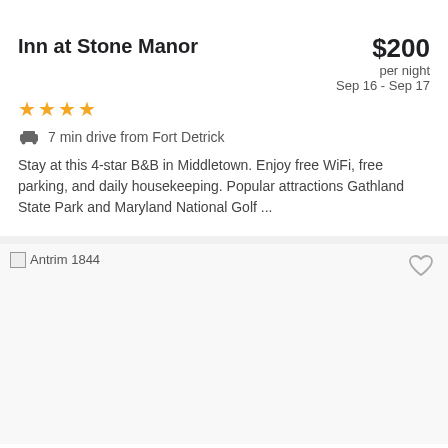Inn at Stone Manor
$200 per night Sep 16 - Sep 17
★★★★
7 min drive from Fort Detrick
Stay at this 4-star B&B in Middletown. Enjoy free WiFi, free parking, and daily housekeeping. Popular attractions Gathland State Park and Maryland National Golf ...
[Figure (photo): Antrim 1844 hotel image placeholder]
Antrim 1844
$235